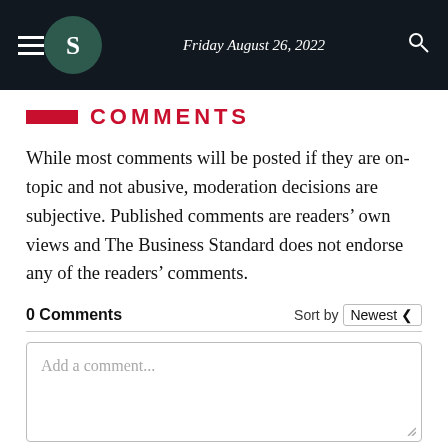Friday August 26, 2022
COMMENTS
While most comments will be posted if they are on-topic and not abusive, moderation decisions are subjective. Published comments are readers’ own views and The Business Standard does not endorse any of the readers’ comments.
0 Comments
Sort by Newest
Add a comment...